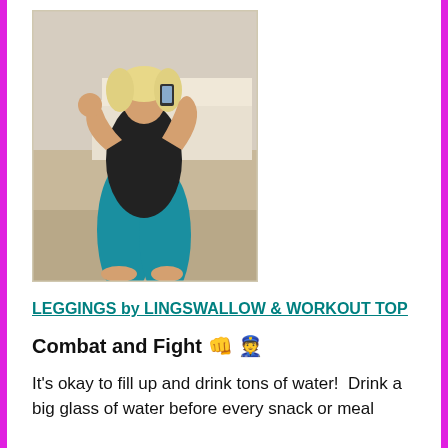[Figure (photo): Woman in black tank top and teal/blue leggings taking a mirror selfie in a bedroom, posing flexing her arm.]
LEGGINGS by LINGSWALLOW & WORKOUT TOP
Combat and Fight 👊 👮
It's okay to fill up and drink tons of water!  Drink a big glass of water before every snack or meal